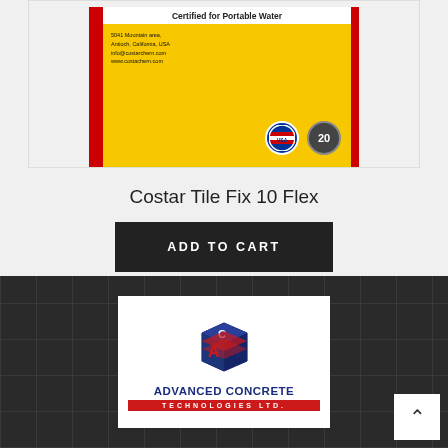[Figure (photo): Product image of Costar Tile Fix 10 Flex bag — yellow packaging with red border, 'Certified for Portable Water' text, small address text, USA badge and '20' badge visible]
Costar Tile Fix 10 Flex
ADD TO CART
[Figure (logo): Advanced Concrete Technologies Ltd. logo — blue cube icon with red ACT letters and red/blue striped elements, company name in blue, red banner reading 'TECHNOLOGIES LTD.' at bottom]